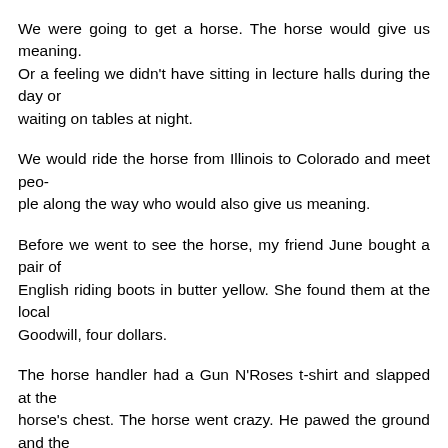We were going to get a horse. The horse would give us meaning.
Or a feeling we didn't have sitting in lecture halls during the day or
waiting on tables at night.
We would ride the horse from Illinois to Colorado and meet peo-
ple along the way who would also give us meaning.
Before we went to see the horse, my friend June bought a pair of
English riding boots in butter yellow. She found them at the local
Goodwill, four dollars.
The horse handler had a Gun N'Roses t-shirt and slapped at the
horse's chest. The horse went crazy. He pawed the ground and the